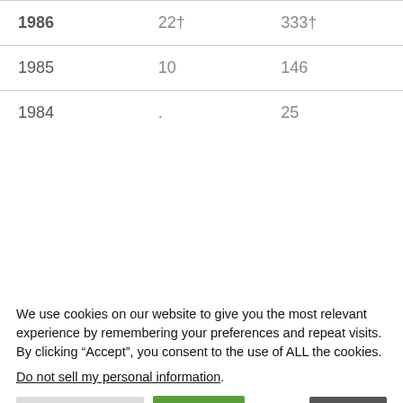| 1986 | 22† | 333† |
| 1985 | 10 | 146 |
| 1984 | . | 25 |
†Peak usage
[Figure (other): Gray placeholder box for additional content]
We use cookies on our website to give you the most relevant experience by remembering your preferences and repeat visits. By clicking "Accept", you consent to the use of ALL the cookies.
Do not sell my personal information.